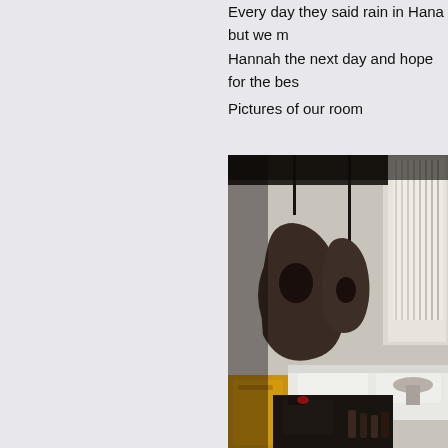Every day they said rain in Hana but we m... Hannah the next day and hope for the bes...
Pictures of our room
[Figure (photo): Interior hotel room photo showing hanging sculptural pendant lights (dark brown/bronze organic shapes), a bed with white linens, window with vertical blinds/curtains, and on the foreground a yellow bag and various small bottles/items on a surface.]